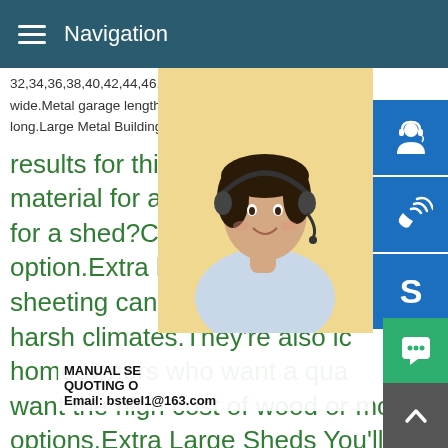Navigation
32,34,36,38,40,42,44,46,48,50,52,54,56,5
wide.Metal garage lengths can be 20,24,2
long.Large Metal Buildings Save on 32-to-
results for this questionWhat is the best material for a shed?What is the best material for a shed?Choose a durable option.Extra large sheds made sheeting can stand the test of harsh climates.They're also ideal for homeowners who want a quality shed but don't want the high cost of wood or more decorative options.Extra Large Sheds You'll Love in 2020 - Wayfair results for this questionFeedbackAgricultural and Farm Buildings General Steel
A steel building from General Steel is the most reliable solution for agricultural buildings.Whether for hay equipment livestock or